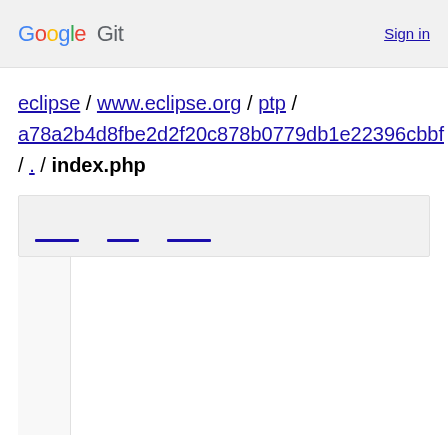Google Git   Sign in
eclipse / www.eclipse.org / ptp / a78a2b4d8fbe2d2f20c878b0779db1e22396cbbf / . / index.php
[Figure (screenshot): Toolbar with three short blue underline-style button placeholders on a light gray background]
[Figure (screenshot): Code viewer area with line number gutter on the left and empty code body on the right]